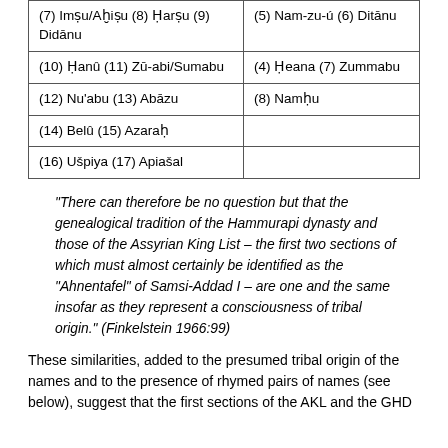| (7) Imṣu/Aḫiṣu (8) Ḥarṣu (9) Didānu | (5) Nam-zu-ú (6) Ditānu |
| (10) Ḥanû (11) Zū-abi/Sumabu | (4) Ḥeana (7) Zummabu |
| (12) Nu'abu (13) Abāzu | (8) Namḥu |
| (14) Belû (15) Azaraḥ |  |
| (16) Ušpiya (17) Apiašal |  |
"There can therefore be no question but that the genealogical tradition of the Hammurapi dynasty and those of the Assyrian King List – the first two sections of which must almost certainly be identified as the "Ahnentafel" of Samsi-Addad I – are one and the same insofar as they represent a consciousness of tribal origin." (Finkelstein 1966:99)
These similarities, added to the presumed tribal origin of the names and to the presence of rhymed pairs of names (see below), suggest that the first sections of the AKL and the GHD...